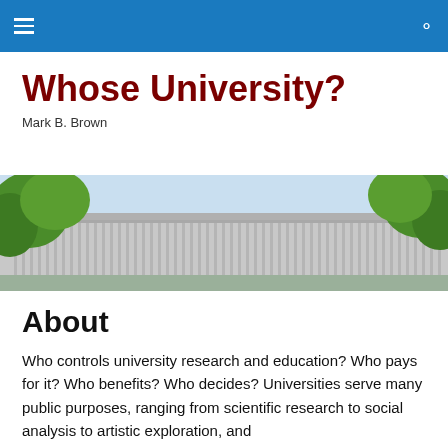Whose University? — navigation bar with hamburger menu and search icon
Whose University?
Mark B. Brown
[Figure (photo): Exterior of a university building with concrete columns and green trees in the foreground against a light blue sky]
About
Who controls university research and education? Who pays for it? Who benefits? Who decides? Universities serve many public purposes, ranging from scientific research to social analysis to artistic exploration, and